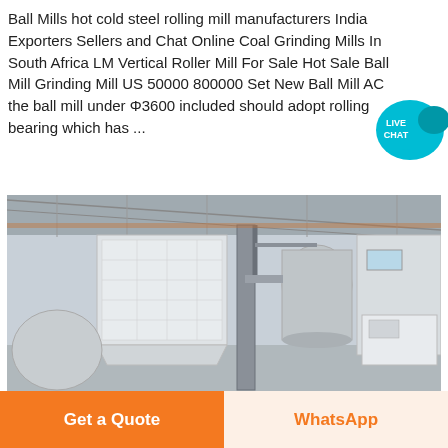Ball Mills hot cold steel rolling mill manufacturers India Exporters Sellers and Chat Online Coal Grinding Mills In South Africa LM Vertical Roller Mill For Sale Hot Sale Ball Mill Grinding Mill US 50000 800000 Set New Ball Mill AC the ball mill under Φ3600 included should adopt rolling bearing which has ...
[Figure (photo): Interior of an industrial facility/factory showing large white hopper or dust collection equipment, vertical cylindrical vessels, piping, and steel structural framing under a corrugated metal roof. Industrial grinding or milling plant interior.]
Get a Quote
WhatsApp